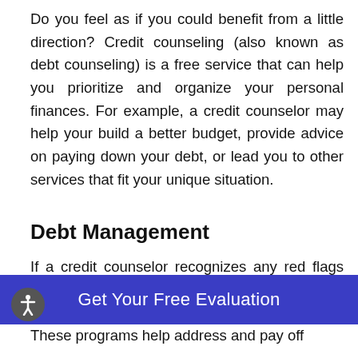Do you feel as if you could benefit from a little direction? Credit counseling (also known as debt counseling) is a free service that can help you prioritize and organize your personal finances. For example, a credit counselor may help your build a better budget, provide advice on paying down your debt, or lead you to other services that fit your unique situation.
Debt Management
If a credit counselor recognizes any red flags during your conversations, he or she may
These programs help address and pay off